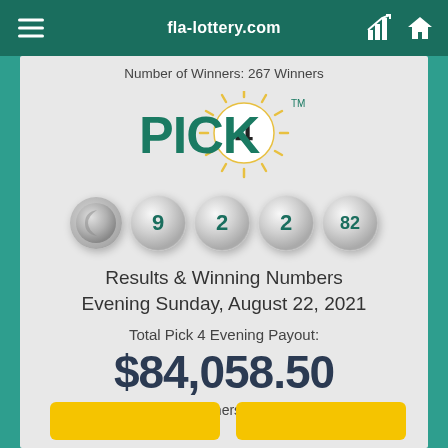fla-lottery.com
Number of Winners: 267 Winners
[Figure (logo): Pick 4 Florida Lottery logo with sun rays]
[Figure (infographic): Lottery balls showing moon icon, 9, 2, 2, 82]
Results & Winning Numbers Evening Sunday, August 22, 2021
Total Pick 4 Evening Payout:
$84,058.50
Number of Winners: 307 Winners